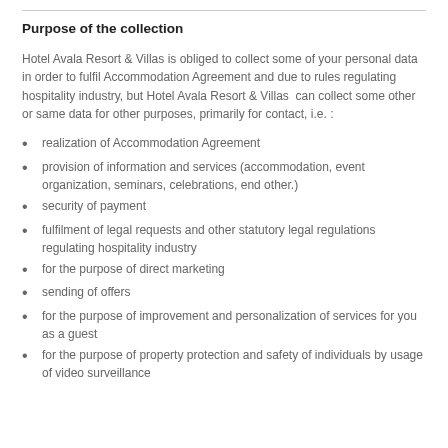Purpose of the collection
Hotel Avala Resort & Villas is obliged to collect some of your personal data in order to fulfil Accommodation Agreement and due to rules regulating hospitality industry, but Hotel Avala Resort & Villas  can collect some other or same data for other purposes, primarily for contact, i.e. :
realization of Accommodation Agreement
provision of information and services (accommodation, event organization, seminars, celebrations, end other.)
security of payment
fulfilment of legal requests and other statutory legal regulations regulating hospitality industry
for the purpose of direct marketing
sending of offers
for the purpose of improvement and personalization of services for you as a guest
for the purpose of property protection and safety of individuals by usage of video surveillance